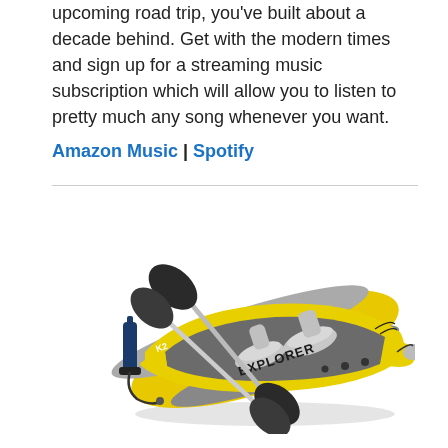upcoming road trip, you've built about a decade behind. Get with the modern times and sign up for a streaming music subscription which will allow you to listen to pretty much any song whenever you want.
Amazon Music | Spotify
[Figure (photo): Intex Explorer inflatable two-person kayak in yellow and gray, with two paddles and a hand pump, shown from an overhead angle on white background.]